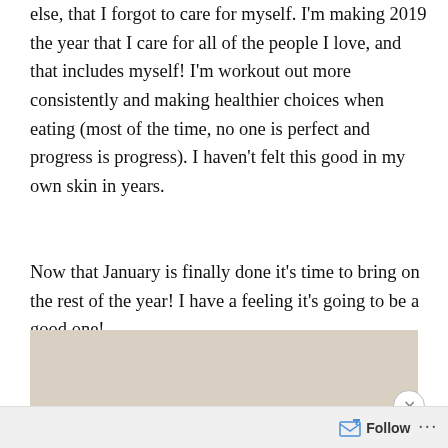else, that I forgot to care for myself. I'm making 2019 the year that I care for all of the people I love, and that includes myself! I'm workout out more consistently and making healthier choices when eating (most of the time, no one is perfect and progress is progress). I haven't felt this good in my own skin in years.
Now that January is finally done it's time to bring on the rest of the year! I have a feeling it's going to be a good one!
[Figure (other): Advertisement banner with beige/tan background color]
Advertisements
Follow ...